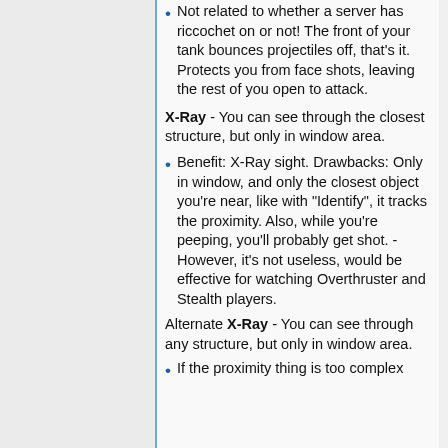Not related to whether a server has riccochet on or not! The front of your tank bounces projectiles off, that's it. Protects you from face shots, leaving the rest of you open to attack.
X-Ray - You can see through the closest structure, but only in window area.
Benefit: X-Ray sight. Drawbacks: Only in window, and only the closest object you're near, like with "Identify", it tracks the proximity. Also, while you're peeping, you'll probably get shot. - However, it's not useless, would be effective for watching Overthruster and Stealth players.
Alternate X-Ray - You can see through any structure, but only in window area.
If the proximity thing is too complex